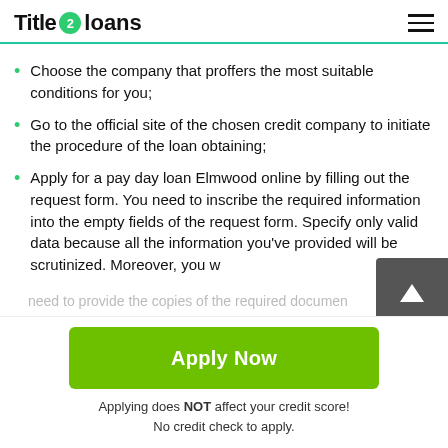Title 2 loans
Choose the company that proffers the most suitable conditions for you;
Go to the official site of the chosen credit company to initiate the procedure of the loan obtaining;
Apply for a pay day loan Elmwood online by filling out the request form. You need to inscribe the required information into the empty fields of the request form. Specify only valid data because all the information you've provided will be scrutinized. Moreover, you will need to provide the copies of the required documen...
Apply Now
Applying does NOT affect your credit score!
No credit check to apply.